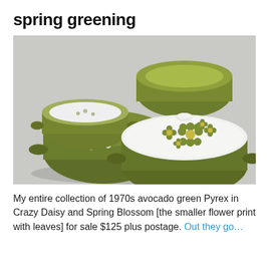spring greening
[Figure (photo): A set of 1970s avocado green Pyrex casserole dishes in Crazy Daisy and Spring Blossom patterns, showing white lids with green flower prints, stacked and grouped together on a grey surface.]
My entire collection of 1970s avocado green Pyrex in Crazy Daisy and Spring Blossom [the smaller flower print with leaves] for sale $125 plus postage. Out they go…